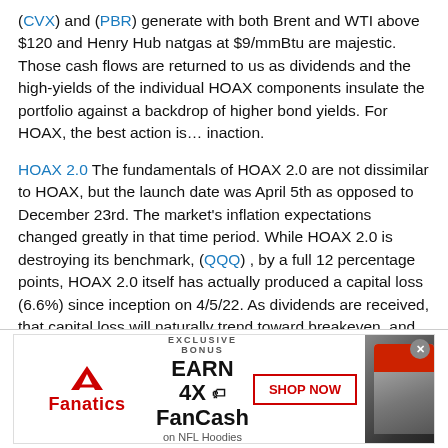(CVX) and (PBR) generate with both Brent and WTI above $120 and Henry Hub natgas at $9/mmBtu are majestic. Those cash flows are returned to us as dividends and the high-yields of the individual HOAX components insulate the portfolio against a backdrop of higher bond yields. For HOAX, the best action is… inaction.
HOAX 2.0 The fundamentals of HOAX 2.0 are not dissimilar to HOAX, but the launch date was April 5th as opposed to December 23rd. The market's inflation expectations changed greatly in that time period. While HOAX 2.0 is destroying its benchmark, (QQQ) , by a full 12 percentage points, HOAX 2.0 itself has actually produced a capital loss (6.6%) since inception on 4/5/22. As dividends are received, that capital loss will naturally trend toward breakeven, and with eight of the 10 HOAX names having
[Figure (other): Fanatics advertisement banner: EXCLUSIVE BONUS EARN 4X FanCash on NFL Hoodies. SHOP NOW button. Shows a hooded sweatshirt photo.]